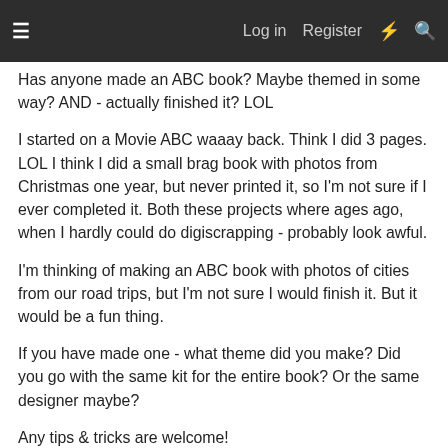≡   Log in   Register   ⚡   🔍
Has anyone made an ABC book? Maybe themed in some way? AND - actually finished it? LOL
I started on a Movie ABC waaay back. Think I did 3 pages. LOL I think I did a small brag book with photos from Christmas one year, but never printed it, so I'm not sure if I ever completed it. Both these projects where ages ago, when I hardly could do digiscrapping - probably look awful.
I'm thinking of making an ABC book with photos of cities from our road trips, but I'm not sure I would finish it. But it would be a fun thing.
If you have made one - what theme did you make? Did you go with the same kit for the entire book? Or the same designer maybe?
Any tips & tricks are welcome!